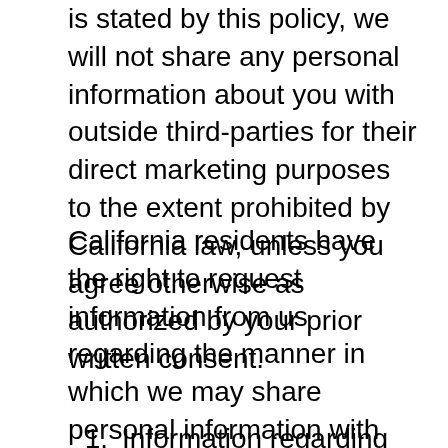is stated by this policy, we will not share any personal information about you with outside third-parties for their direct marketing purposes to the extent prohibited by California law, unless you agree otherwise as authorized by your prior written consent.
California residents have the right to request information from us regarding the manner in which we may share personal information with affiliated companies and third parties for their direct marketing purposes. To find out what and how we share such information, you may send us an e-mail request at: support@molecoolar.com. You will receive the following information:
Information regarding the categories of